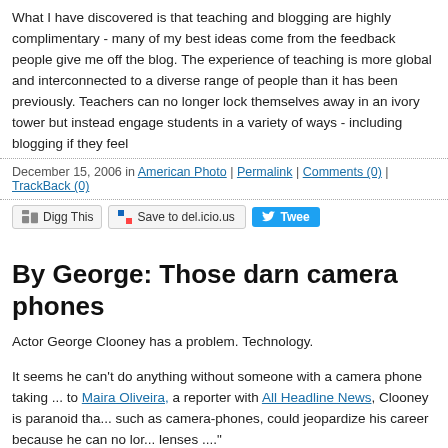What I have discovered is that teaching and blogging are highly complimentary - many of my best ideas come from the feedback people give me off the blog. The experience of teaching is more global and interconnected to a diverse range than been previously. Teachers can no longer lock themselves away in an ivory tower but instead engage students in a variety of ways - including blogging if they feel...
December 15, 2006 in American Photo | Permalink | Comments (0) | TrackBack (0)
[Figure (screenshot): Social sharing buttons: Digg This, Save to del.icio.us, Tweet]
By George: Those darn camera phones
Actor George Clooney has a problem. Technology.
It seems he can't do anything without someone with a camera phone taking ... to Maira Oliveira, a reporter with All Headline News, Clooney is paranoid that such as camera-phones, could jeopardize his career because he can no longer ... lenses ...."
Welcome to the 21st century George --ready or not.
When people become the center of attention because they are known to live large, has been known to live large, digital technology, especially camera phones, ... spotlight of titillation and sensation that much bigger. In fact, camera phones... moments pretty much non-existent for public figures like Clooney. Knowing